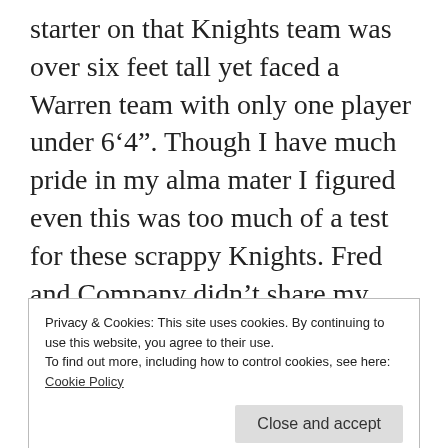starter on that Knights team was over six feet tall yet faced a Warren team with only one player under 6‘4”. Though I have much pride in my alma mater I figured even this was too much of a test for these scrappy Knights. Fred and Company didn’t share my same thoughts. The Knights were down late in the second half and when all hope seemed lost, Fred Van Vleet gave us something to believe in. Everyone in the arena knew where the ball was going in every late game possession, and Warren still
Privacy & Cookies: This site uses cookies. By continuing to use this website, you agree to their use.
To find out more, including how to control cookies, see here: Cookie Policy
powerhouse in basketball and football. The